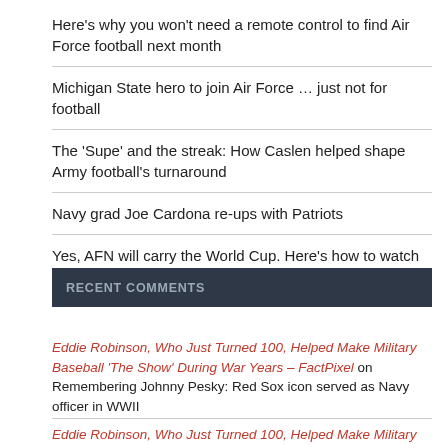Here's why you won't need a remote control to find Air Force football next month
Michigan State hero to join Air Force … just not for football
The 'Supe' and the streak: How Caslen helped shape Army football's turnaround
Navy grad Joe Cardona re-ups with Patriots
Yes, AFN will carry the World Cup. Here's how to watch
RECENT COMMENTS
Eddie Robinson, Who Just Turned 100, Helped Make Military Baseball 'The Show' During War Years – FactPixel on Remembering Johnny Pesky: Red Sox icon served as Navy officer in WWII
Eddie Robinson, Who Just Turned 100, Helped Make Military